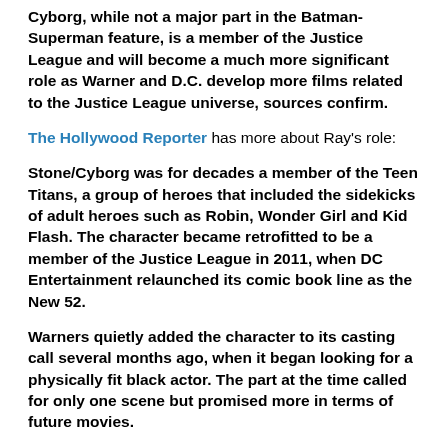Cyborg, while not a major part in the Batman-Superman feature, is a member of the Justice League and will become a much more significant role as Warner and D.C. develop more films related to the Justice League universe, sources confirm.
The Hollywood Reporter has more about Ray's role:
Stone/Cyborg was for decades a member of the Teen Titans, a group of heroes that included the sidekicks of adult heroes such as Robin, Wonder Girl and Kid Flash. The character became retrofitted to be a member of the Justice League in 2011, when DC Entertainment relaunched its comic book line as the New 52.
Warners quietly added the character to its casting call several months ago, when it began looking for a physically fit black actor. The part at the time called for only one scene but promised more in terms of future movies.
The casting news really doesn't come as a surprise, since a